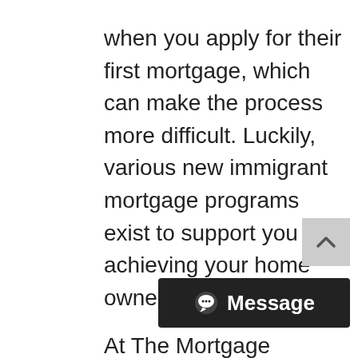when you apply for their first mortgage, which can make the process more difficult. Luckily, various new immigrant mortgage programs exist to support you in achieving your home ownership goals.
At The Mortgage Centre KW, our team is here to help you secure a mortgage for your first home, when you're a new arrival in Canada. There are many mortgage programs that exist to help new Canadians secure a mortgage. Our team understands the options available and we ca[n] find the right program for your specific
[Figure (other): Scroll-to-top button: grey square with white upward chevron arrow]
[Figure (other): Dark chat/message button with alien/message icon and bold white text 'Message']